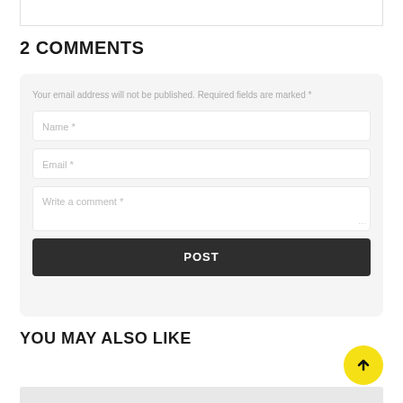2 COMMENTS
Your email address will not be published. Required fields are marked *
Name *
Email *
Write a comment *
POST
YOU MAY ALSO LIKE